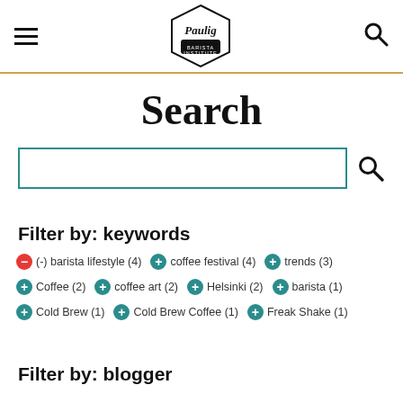Paulig Barista Institute — navigation header
Search
[Figure (screenshot): Search input box with teal border and search icon button]
Filter by: keywords
(-) barista lifestyle (4)
(+) coffee festival (4)
(+) trends (3)
(+) Coffee (2)
(+) coffee art (2)
(+) Helsinki (2)
(+) barista (1)
(+) Cold Brew (1)
(+) Cold Brew Coffee (1)
(+) Freak Shake (1)
Filter by: blogger